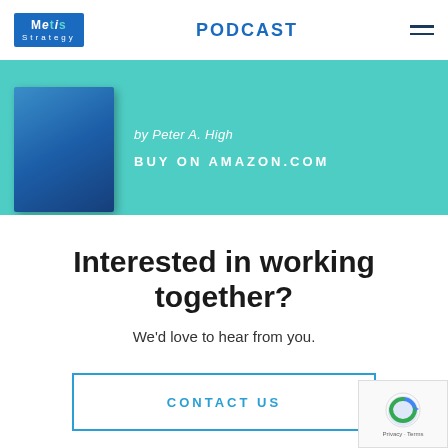Metis Strategy | PODCAST
[Figure (illustration): Teal/turquoise banner section with a blue book and text: 'by Peter A. High' and 'BUY ON AMAZON.COM']
Interested in working together?
We'd love to hear from you.
CONTACT US
[Figure (logo): reCAPTCHA logo with Privacy · Terms text]